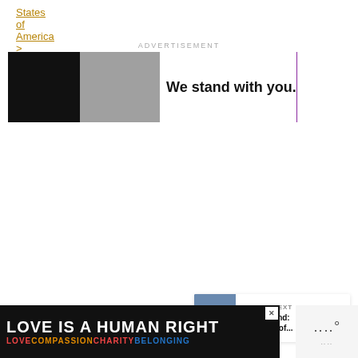States of America >
ADVERTISEMENT
[Figure (screenshot): Advertisement banner: black and gray left panels with text 'We stand with you.' on white background, purple right panel with close X button]
[Figure (infographic): Heart/like button (green circle) with count 110 below, and share button (white circle with share icon)]
[Figure (screenshot): What's Next card showing thumbnail of Iceland landscape with text 'East Iceland: The Edge of...']
[Figure (screenshot): Bottom advertisement: black background with 'LOVE IS A HUMAN RIGHT' in large bold text, second line 'LOVE COMPASSION CHARITY BELONGING']
[Figure (logo): Bottom right logo area with dots icon]